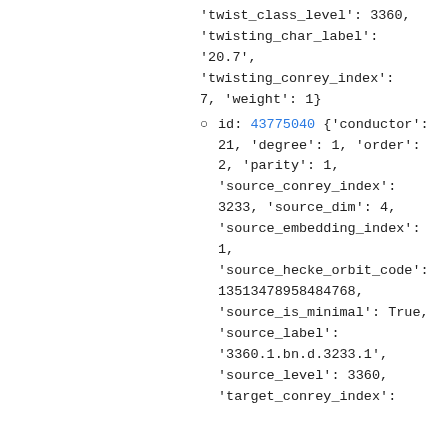'twist_class_level': 3360, 'twisting_char_label': '20.7', 'twisting_conrey_index': 7, 'weight': 1}
id: 43775040 {'conductor': 21, 'degree': 1, 'order': 2, 'parity': 1, 'source_conrey_index': 3233, 'source_dim': 4, 'source_embedding_index': 1, 'source_hecke_orbit_code': 13513478958484768, 'source_is_minimal': True, 'source_label': '3360.1.bn.d.3233.1', 'source_level': 3360, 'target_conrey_index':